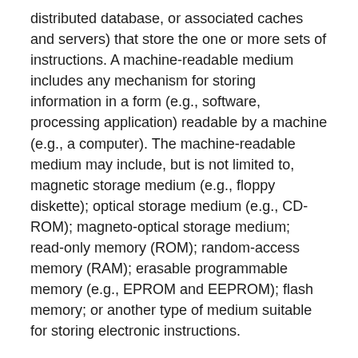distributed database, or associated caches and servers) that store the one or more sets of instructions. A machine-readable medium includes any mechanism for storing information in a form (e.g., software, processing application) readable by a machine (e.g., a computer). The machine-readable medium may include, but is not limited to, magnetic storage medium (e.g., floppy diskette); optical storage medium (e.g., CD-ROM); magneto-optical storage medium; read-only memory (ROM); random-access memory (RAM); erasable programmable memory (e.g., EPROM and EEPROM); flash memory; or another type of medium suitable for storing electronic instructions.
The preceding description sets forth numerous specific details such as examples of specific systems, components, methods, and so forth, in order to provide a good understanding of several embodiments of the present disclosure. It will be apparent to one skilled in the art, however, that at least some embodiments of the present disclosure may be practiced without these specific details. In other instances, well-known components or methods are not described in detail or are presented in simple block diagram format in order to avoid